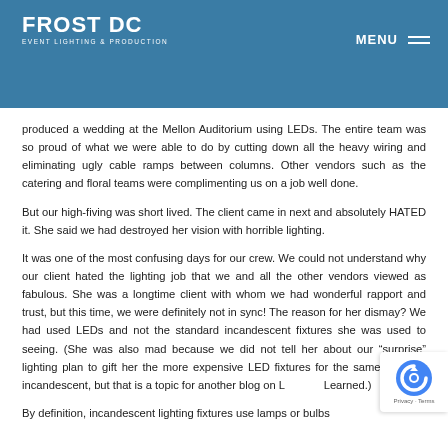FROST DC — EVENT LIGHTING & PRODUCTION | MENU
produced a wedding at the Mellon Auditorium using LEDs. The entire team was so proud of what we were able to do by cutting down all the heavy wiring and eliminating ugly cable ramps between columns. Other vendors such as the catering and floral teams were complimenting us on a job well done.
But our high-fiving was short lived. The client came in next and absolutely HATED it. She said we had destroyed her vision with horrible lighting.
It was one of the most confusing days for our crew. We could not understand why our client hated the lighting job that we and all the other vendors viewed as fabulous. She was a longtime client with whom we had wonderful rapport and trust, but this time, we were definitely not in sync! The reason for her dismay? We had used LEDs and not the standard incandescent fixtures she was used to seeing. (She was also mad because we did not tell her about our “surprise” lighting plan to gift her the more expensive LED fixtures for the same price as incandescent, but that is a topic for another blog on Lessons Learned.)
By definition, incandescent lighting fixtures use lamps or bulbs